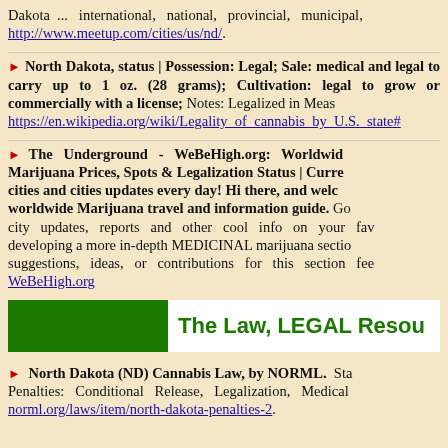Dakota ... international, national, provincial, municipal, http://www.meetup.com/cities/us/nd/.
North Dakota, status | Possession: Legal; Sale: medical and legal to carry up to 1 oz. (28 grams); Cultivation: legal to grow or commercially with a license; Notes: Legalized in Measure... https://en.wikipedia.org/wiki/Legality_of_cannabis_by_U.S._state#
The Underground - WeBeHigh.org: Worldwide Marijuana Prices, Spots & Legalization Status | Current cities and cities updates every day! Hi there, and welcome worldwide Marijuana travel and information guide. Go city updates, reports and other cool info on your favorite developing a more in-depth MEDICINAL marijuana section... suggestions, ideas, or contributions for this section feel free... WeBeHigh.org
The Law, LEGAL Resources
North Dakota (ND) Cannabis Law, by NORML. State Penalties: Conditional Release, Legalization, Medical... norml.org/laws/item/north-dakota-penalties-2.